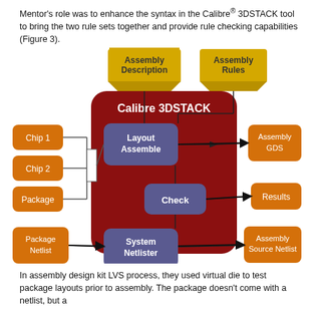Mentor's role was to enhance the syntax in the Calibre® 3DSTACK tool to bring the two rule sets together and provide rule checking capabilities (Figure 3).
[Figure (flowchart): Flowchart showing the Calibre 3DSTACK tool architecture. Inputs on the left: Chip 1, Chip 2, Package (orange boxes) feeding into 'Layout Assemble' (purple box inside red Calibre 3DSTACK block), and 'Package Netlist' feeding into 'System Netlister'. Top inputs: 'Assembly Description' and 'Assembly Rules' (gold banner shapes). Outputs on the right: 'Assembly GDS', 'Results', 'Assembly Source Netlist' (orange boxes). Internal 'Check' module (purple) connects to Results.]
In assembly design kit LVS process, they used virtual die to test package layouts prior to assembly. The package doesn't come with a netlist, but a